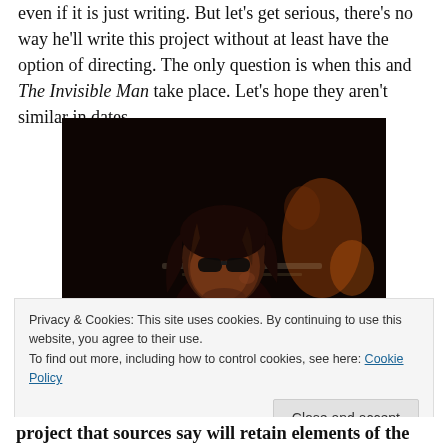even if it is just writing. But let's get serious, there's no way he'll write this project without at least have the option of directing. The only question is when this and The Invisible Man take place. Let's hope they aren't similar in dates.
[Figure (photo): Dark moody photo of a man with long hair, sunglasses, looking up, dark background with blurred warm-toned lights]
Privacy & Cookies: This site uses cookies. By continuing to use this website, you agree to their use.
To find out more, including how to control cookies, see here: Cookie Policy
Close and accept
project that sources say will retain elements of the